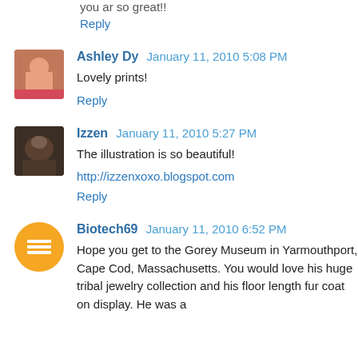you ar so great!!
Reply
Ashley Dy  January 11, 2010 5:08 PM
Lovely prints!
Reply
Izzen  January 11, 2010 5:27 PM
The illustration is so beautiful!
http://izzenxoxo.blogspot.com
Reply
Biotech69  January 11, 2010 6:52 PM
Hope you get to the Gorey Museum in Yarmouthport, Cape Cod, Massachusetts. You would love his huge tribal jewelry collection and his floor length fur coat on display. He was a